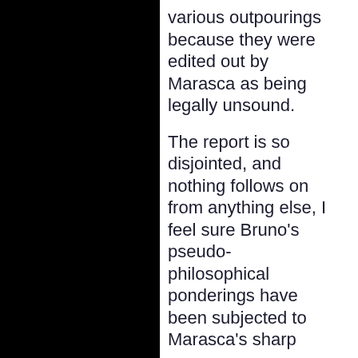various outpourings because they were edited out by Marasca as being legally unsound.
The report is so disjointed, and nothing follows on from anything else, I feel sure Bruno's pseudo-philosophical ponderings have been subjected to Marasca's sharp censors